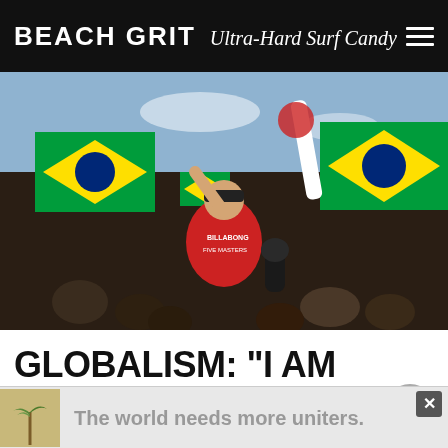BEACH GRIT Ultra-Hard Surf Candy
[Figure (photo): A surfer in a red Billabong Five Masters jersey being carried on the shoulders of a celebrating crowd waving green and yellow Brazilian flags. The surfer is wearing a red cap and holding his arm up.]
GLOBALISM: “I AM BRAZILIAN TOO!”
The world needs more uniters.